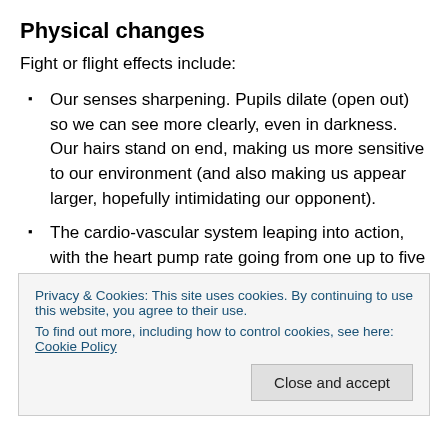Physical changes
Fight or flight effects include:
Our senses sharpening. Pupils dilate (open out) so we can see more clearly, even in darkness. Our hairs stand on end, making us more sensitive to our environment (and also making us appear larger, hopefully intimidating our opponent).
The cardio-vascular system leaping into action, with the heart pump rate going from one up to five gallons
Privacy & Cookies: This site uses cookies. By continuing to use this website, you agree to their use.
To find out more, including how to control cookies, see here: Cookie Policy
more air in the system so the increased blood flow can